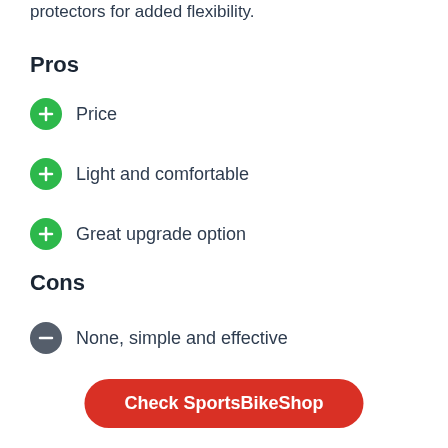protectors for added flexibility.
Pros
Price
Light and comfortable
Great upgrade option
Cons
None, simple and effective
Check SportsBikeShop